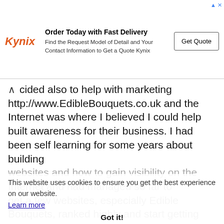[Figure (other): Kynix advertisement banner: 'Order Today with Fast Delivery' with logo, subtitle text, and Get Quote button]
cided also to help with marketing http://www.EdibleBouquets.co.uk and the Internet was where I believed I could help built awareness for their business. I had been self learning for some years about building websites and how to gain visibility on the Internet and had managed so far to get a few websites, especially Edible Bouquets, ranked highly and start getting traffic to the website. Now most new customers come from the website with the remainder from referrals and repeat business.
This website uses cookies to ensure you get the best experience on our website. Learn more Got it!